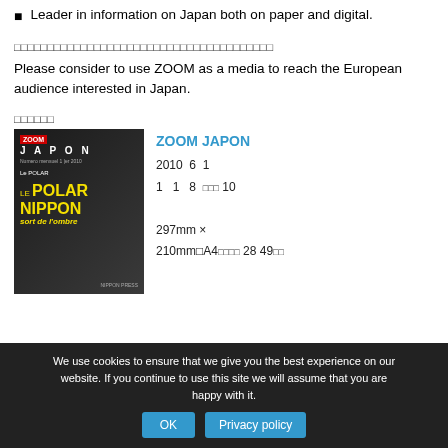Leader in information on Japan both on paper and digital.
□□□□□□□□□□□□□□□□□□□□□□□□□□□□□□□□□□□□□□□
Please consider to use ZOOM as a media to reach the European audience interested in Japan.
□□□□□□
[Figure (photo): Magazine cover of ZOOM JAPON featuring 'Le POLAR NIPPON sort de l'ombre' with figure on dark street background]
ZOOM JAPON
2010 6 1
1 1 8 □□□ 10
297mm ×
210mm□A4□□□□ 28 49□□